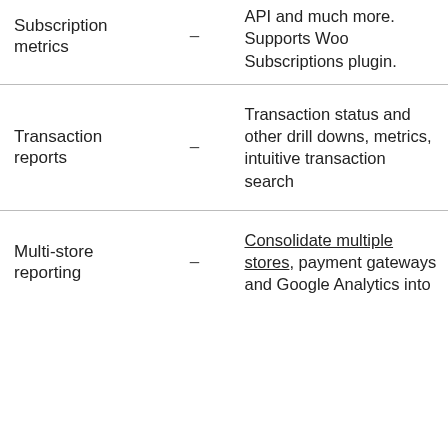| Feature |  | Description |
| --- | --- | --- |
| Subscription metrics | – | API and much more. Supports Woo Subscriptions plugin. |
| Transaction reports | – | Transaction status and other drill downs, metrics, intuitive transaction search |
| Multi-store reporting | – | Consolidate multiple stores, payment gateways and Google Analytics into |